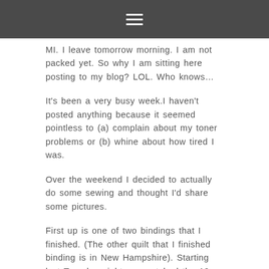☰
MI. I leave tomorrow morning. I am not packed yet. So why I am sitting here posting to my blog? LOL. Who knows…
It's been a very busy week.I haven't posted anything because it seemed pointless to (a) complain about my toner problems or (b) whine about how tired I was.
Over the weekend I decided to actually do some sewing and thought I'd share some pictures.
First up is one of two bindings that I finished. (The other quilt that I finished binding is in New Hampshire). Starting last Tuesday night, we watched the 12 hours of The Lord of the Rings trilogy — one disc at a time for 6 nights. I got lots